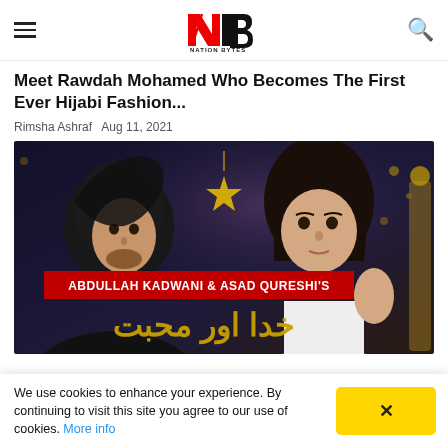Nation Bytes (NB logo) — hamburger menu and search icon
Meet Rawdah Mohamed Who Becomes The First Ever Hijabi Fashion...
Rimsha Ashraf   Aug 11, 2021
[Figure (photo): Promotional image for Pakistani drama 'Khuda Aur Mohabbat' featuring Abdullah Kadwani & Asad Qureshi's production. A man in black hijab on the left and a woman on the right, with Urdu title text and a red banner reading 'ABDULLAH KADWANI & ASAD QURESHI'S'.]
We use cookies to enhance your experience. By continuing to visit this site you agree to our use of cookies. More info